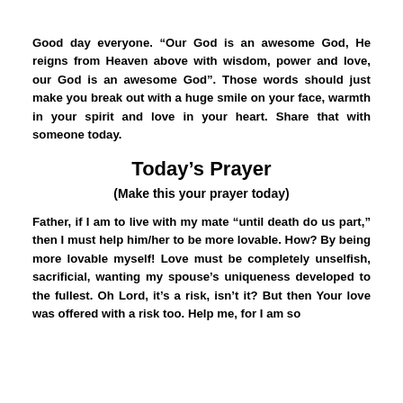Good day everyone. “Our God is an awesome God, He reigns from Heaven above with wisdom, power and love, our God is an awesome God”. Those words should just make you break out with a huge smile on your face, warmth in your spirit and love in your heart. Share that with someone today.
Today’s Prayer
(Make this your prayer today)
Father, if I am to live with my mate “until death do us part,” then I must help him/her to be more lovable. How? By being more lovable myself! Love must be completely unselfish, sacrificial, wanting my spouse’s uniqueness developed to the fullest. Oh Lord, it’s a risk, isn’t it? But then Your love was offered with a risk too. Help me, for I am so...